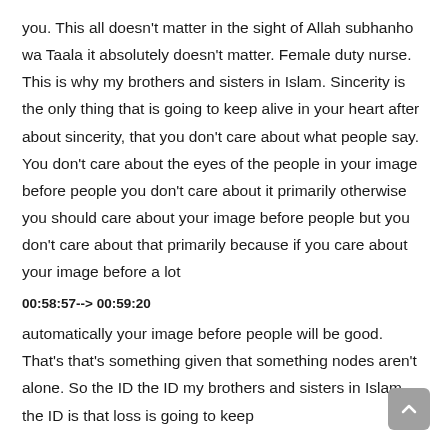you. This all doesn't matter in the sight of Allah subhanho wa Taala it absolutely doesn't matter. Female duty nurse. This is why my brothers and sisters in Islam. Sincerity is the only thing that is going to keep alive in your heart after about sincerity, that you don't care about what people say. You don't care about the eyes of the people in your image before people you don't care about it primarily otherwise you should care about your image before people but you don't care about that primarily because if you care about your image before a lot
00:58:57--> 00:59:20
automatically your image before people will be good. That's that's something given that something nodes aren't alone. So the ID the ID my brothers and sisters in Islam, the ID is that loss is going to keep